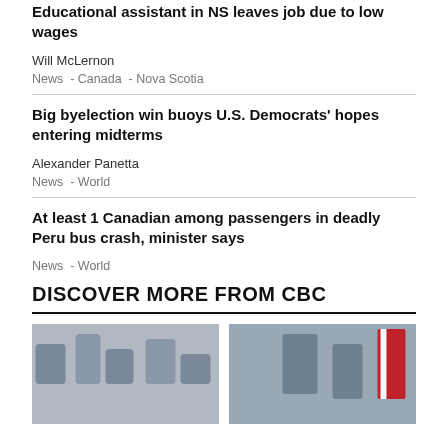Educational assistant in NS leaves job due to low wages
Will McLernon
News  -  Canada  -  Nova Scotia
Big byelection win buoys U.S. Democrats' hopes entering midterms
Alexander Panetta
News  -  World
At least 1 Canadian among passengers in deadly Peru bus crash, minister says
News  -  World
DISCOVER MORE FROM CBC
[Figure (photo): People sitting around a meeting table, some wearing masks]
[Figure (photo): Two men standing in front of a Canadian flag, appears to be Trudeau and Scholz]